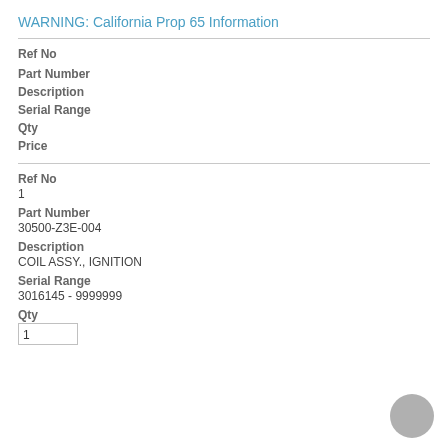WARNING: California Prop 65 Information
Ref No
Part Number
Description
Serial Range
Qty
Price
Ref No
1
Part Number
30500-Z3E-004
Description
COIL ASSY., IGNITION
Serial Range
3016145 - 9999999
Qty
1